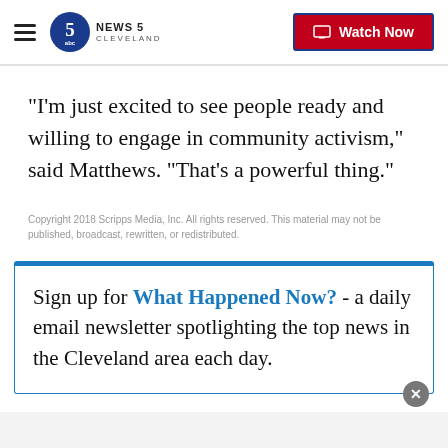NEWS 5 CLEVELAND — Watch Now
“I’m just excited to see people ready and willing to engage in community activism,” said Matthews. “That’s a powerful thing.”
Copyright 2018 Scripps Media, Inc. All rights reserved. This material may not be published, broadcast, rewritten, or redistributed.
Sign up for What Happened Now? - a daily email newsletter spotlighting the top news in the Cleveland area each day.